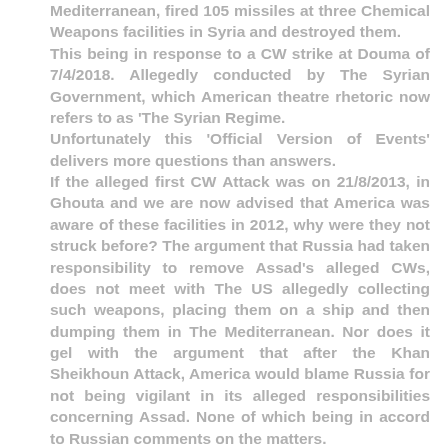Mediterranean, fired 105 missiles at three Chemical Weapons facilities in Syria and destroyed them. This being in response to a CW strike at Douma of 7/4/2018. Allegedly conducted by The Syrian Government, which American theatre rhetoric now refers to as 'The Syrian Regime. Unfortunately this 'Official Version of Events' delivers more questions than answers. If the alleged first CW Attack was on 21/8/2013, in Ghouta and we are now advised that America was aware of these facilities in 2012, why were they not struck before? The argument that Russia had taken responsibility to remove Assad's alleged CWs, does not meet with The US allegedly collecting such weapons, placing them on a ship and then dumping them in The Mediterranean. Nor does it gel with the argument that after the Khan Sheikhoun Attack, America would blame Russia for not being vigilant in its alleged responsibilities concerning Assad. None of which being in accord to Russian comments on the matters. The US Treasury mysteriously came into the picture in 2017 and allegedly 'sanctioned' 271 scientists it claimed were researching CWs in Syria, for The SSRC 'Responsible